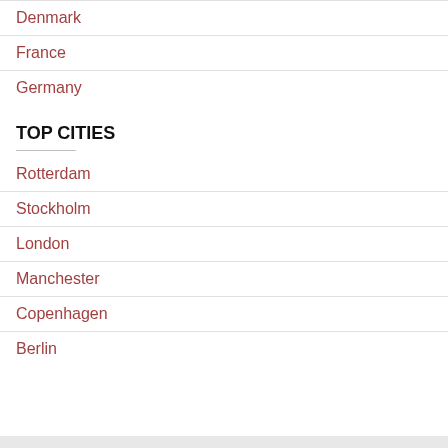Denmark
France
Germany
TOP CITIES
Rotterdam
Stockholm
London
Manchester
Copenhagen
Berlin